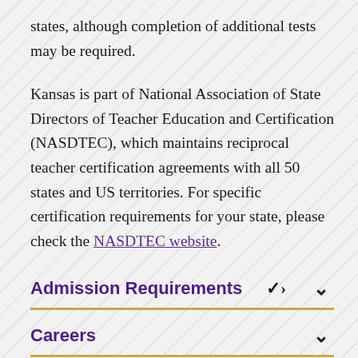states, although completion of additional tests may be required.
Kansas is part of National Association of State Directors of Teacher Education and Certification (NASDTEC), which maintains reciprocal teacher certification agreements with all 50 states and US territories. For specific certification requirements for your state, please check the NASDTEC website.
Admission Requirements
Careers